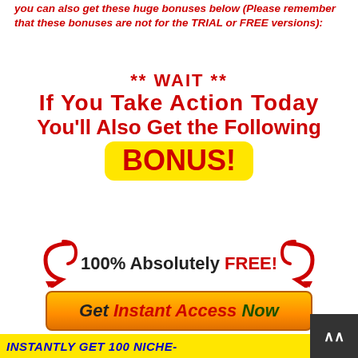you can also get these huge bonuses below (Please remember that these bonuses are not for the TRIAL or FREE versions):
** WAIT ** If You Take Action Today You'll Also Get the Following BONUS!
[Figure (infographic): Promotional banner with red curly arrows on left and right, bold black and red text reading '100% Absolutely FREE!' and an orange gradient button with text 'Get Instant Access Now']
INSTANTLY GET 100 NICHE-